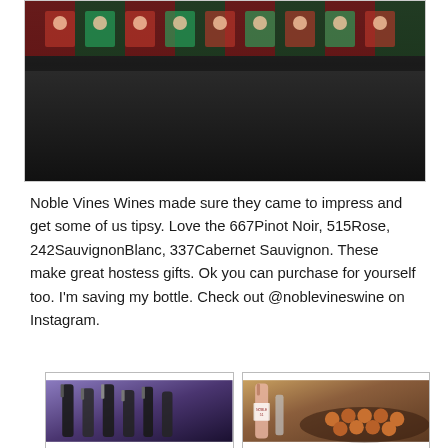[Figure (photo): A row of wine display signs/banners featuring a woman's face, arranged along a dark surface at an event.]
Noble Vines Wines made sure they came to impress and get some of us tipsy. Love the 667Pinot Noir, 515Rose, 242SauvignonBlanc, 337Cabernet Sauvignon. These make great hostess gifts. Ok you can purchase for yourself too. I'm saving my bottle. Check out @noblevineswine on Instagram.
[Figure (photo): Close-up of multiple dark wine bottles standing together against a purple background.]
[Figure (photo): A bottle of Noble Vines rose wine next to a platter of sliders/mini burgers on a wooden surface.]